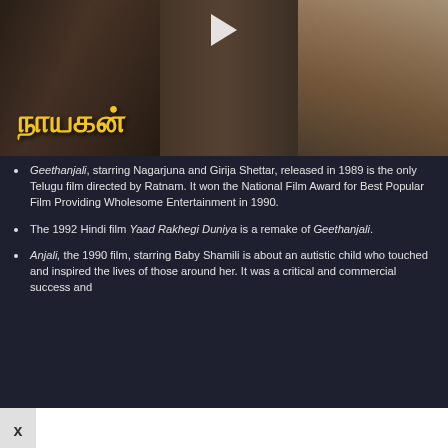[Figure (photo): Movie thumbnail/poster for Tamil film 'Nayagan' showing two actors, with a play button overlay and Tamil script title in yellow at bottom left]
Geethanjali, starring Nagarjuna and Girija Shettar, released in 1989 is the only Telugu film directed by Ratnam. It won the National Film Award for Best Popular Film Providing Wholesome Entertainment in 1990.
The 1992 Hindi film Yaad Rakhegi Duniya is a remake of Geethanjali.
Anjali, the 1990 film, starring Baby Shamili is about an autistic child who touched and inspired the lives of those around her. It was a critical and commercial success and